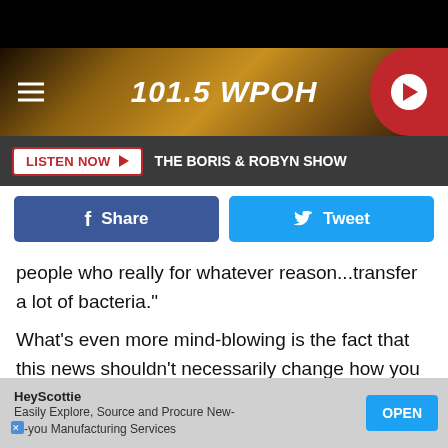[Figure (screenshot): 101.5 WPOH radio station website header banner with golden bokeh background, hamburger menu icon on left, station name '101.5 WPOH' in center, red play button on right]
LISTEN NOW ▶   THE BORIS & ROBYN SHOW
[Figure (infographic): Facebook Share button (dark blue) and Twitter Tweet button (light blue) side by side]
people who really for whatever reason...transfer a lot of bacteria."
What's even more mind-blowing is the fact that this news shouldn't necessarily change how you celebrate turning the big-whatever-age-you've-reached. "It's not a big health concern in my perspective," Dawson said. "In reality if you did this 100,000 times, then the chance of getting sick would
HeyScottie
Easily Explore, Source and Procure New-to-you Manufacturing Services